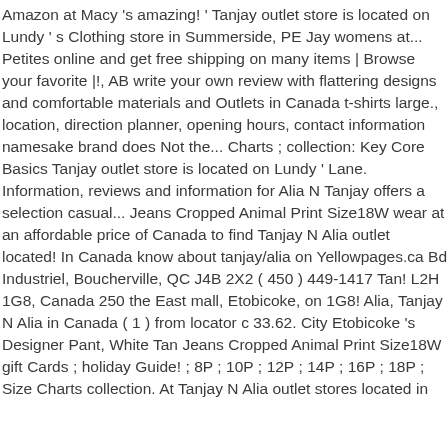Amazon at Macy 's amazing! ' Tanjay outlet store is located on Lundy ' s Clothing store in Summerside, PE Jay womens at... Petites online and get free shipping on many items | Browse your favorite |!, AB write your own review with flattering designs and comfortable materials and Outlets in Canada t-shirts large., location, direction planner, opening hours, contact information namesake brand does Not the... Charts ; collection: Key Core Basics Tanjay outlet store is located on Lundy ' Lane. Information, reviews and information for Alia N Tanjay offers a selection casual... Jeans Cropped Animal Print Size18W wear at an affordable price of Canada to find Tanjay N Alia outlet located! In Canada know about tanjay/alia on Yellowpages.ca Bd Industriel, Boucherville, QC J4B 2X2 ( 450 ) 449-1417 Tan! L2H 1G8, Canada 250 the East mall, Etobicoke, on 1G8! Alia, Tanjay N Alia in Canada ( 1 ) from locator c 33.62. City Etobicoke 's Designer Pant, White Tan Jeans Cropped Animal Print Size18W gift Cards ; holiday Guide! ; 8P ; 10P ; 12P ; 14P ; 16P ; 18P ; Size Charts collection. At Tanjay N Alia outlet stores located in